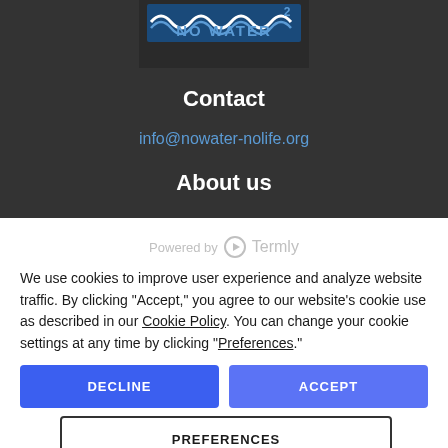[Figure (logo): No Water No Life logo with stylized wave pattern and text 'NO WATER' in blue on dark background]
Contact
info@nowater-nolife.org
About us
[Figure (logo): Powered by Termly logo with circular icon]
We use cookies to improve user experience and analyze website traffic. By clicking "Accept," you agree to our website's cookie use as described in our Cookie Policy. You can change your cookie settings at any time by clicking "Preferences."
DECLINE
ACCEPT
PREFERENCES